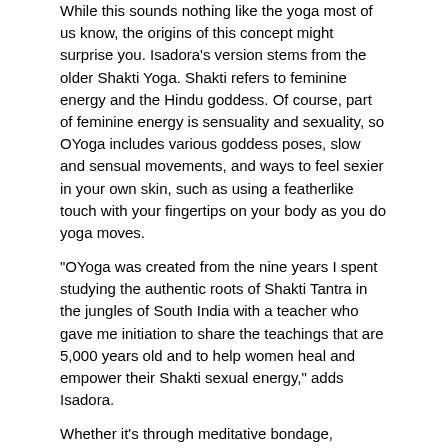While this sounds nothing like the yoga most of us know, the origins of this concept might surprise you. Isadora's version stems from the older Shakti Yoga. Shakti refers to feminine energy and the Hindu goddess. Of course, part of feminine energy is sensuality and sexuality, so OYoga includes various goddess poses, slow and sensual movements, and ways to feel sexier in your own skin, such as using a featherlike touch with your fingertips on your body as you do yoga moves.
“OYoga was created from the nine years I spent studying the authentic roots of Shakti Tantra in the jungles of South India with a teacher who gave me initiation to share the teachings that are 5,000 years old and to help women heal and empower their Shakti sexual energy,” adds Isadora.
Whether it’s through meditative bondage, orgasmic yoga or masturbating with crystal wands, the goal is to get in touch with your sexuality on a deeper level that, as Donaghue explains, harkens back to the idea that sex can be sacred, meditative and healing. “Our culture likes to see sex as profane and not part of spirituality. Orgasm is one of the easiest ways for us to experience a momentary loss of everything (time, body, other) and to transcend all,” adds Donaghue.
See more and larger photo’s: Mashable.com.
[Figure (photo): Black and white photograph of a person, partially cropped, appearing to be in an artistic pose]